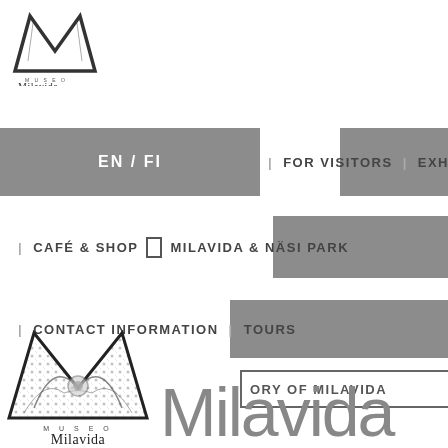[Figure (logo): Museo Milavida logo top left, decorative M lettermark with museo milavida text below]
EN / FI
| FOR VISITORS | EXHIBITIONS
| CAFÉ & SHOP  MILAVIDA & NÄSI PARK
| CONTACT INFORMATION | TOURS
ORY OF MILAVIDA
NÄSI PARK
[Figure (logo): Museo Milavida logo bottom left, large decorative M with floral pattern, MUSEO Milavida text]
Milavida